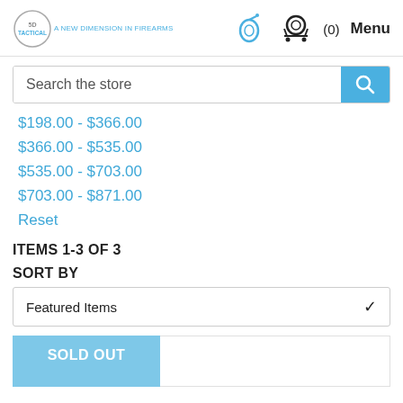SD TACTICAL — Menu, cart (0), tag icon
Search the store
$198.00 - $366.00
$366.00 - $535.00
$535.00 - $703.00
$703.00 - $871.00
Reset
ITEMS 1-3 OF 3
SORT BY
Featured Items
SOLD OUT